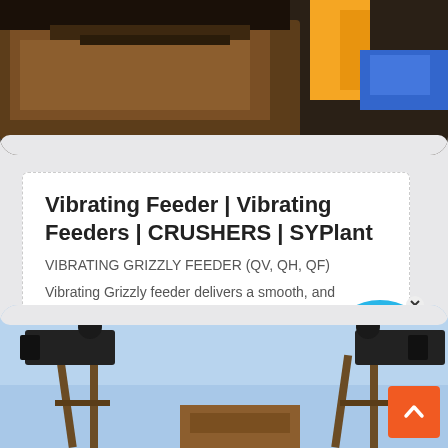[Figure (photo): Top photo of industrial crusher/feeder machinery with brown/orange equipment against a dark background, partially visible at top of page]
Vibrating Feeder | Vibrating Feeders | CRUSHERS | SYPlant
VIBRATING GRIZZLY FEEDER (QV, QH, QF)
Vibrating Grizzly feeder delivers a smooth, and controlled flow of oversized materials to the…
[Figure (photo): Bottom photo showing vibrating feeder/crusher equipment on wooden frames against a blue sky background]
[Figure (other): Live Chat bubble overlay in blue with white text saying Live Chat]